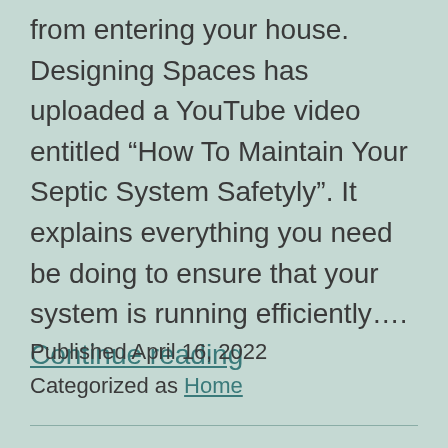from entering your house. Designing Spaces has uploaded a YouTube video entitled “How To Maintain Your Septic System Safetyly”. It explains everything you need be doing to ensure that your system is running efficiently…. Continue reading
Published April 16, 2022
Categorized as Home